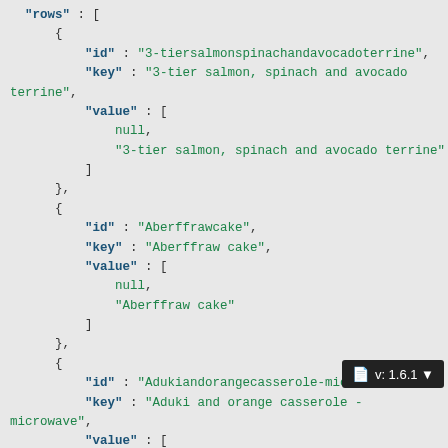JSON code block showing rows array with objects: id, key, value fields for 3-tier salmon spinach and avocado terrine, Aberffraw cake, Aduki and orange casserole - microwave, and Aioli - garlic mayonnaise entries